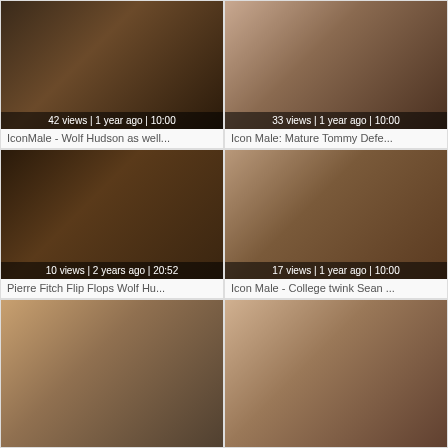[Figure (photo): Video thumbnail 1 - two people on bed, dark tones]
42 views | 1 year ago | 10:00
IconMale - Wolf Hudson as well...
[Figure (photo): Video thumbnail 2 - two people, light tones]
33 views | 1 year ago | 10:00
Icon Male: Mature Tommy Defe...
[Figure (photo): Video thumbnail 3 - group scene, dark tones]
10 views | 2 years ago | 20:52
Pierre Fitch Flip Flops Wolf Hu...
[Figure (photo): Video thumbnail 4 - two people, tan tones]
17 views | 1 year ago | 10:00
Icon Male - College twink Sean ...
[Figure (photo): Video thumbnail 5 - partial view, warm tones]
[Figure (photo): Video thumbnail 6 - partial view, light tones]